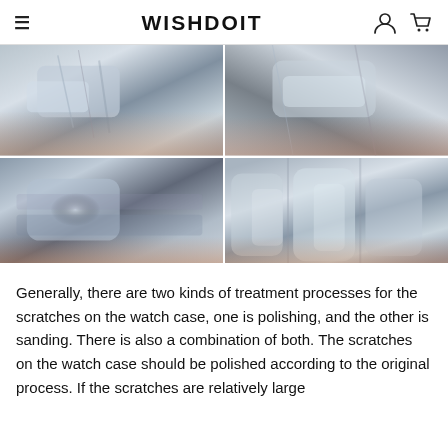WISHDOIT
[Figure (photo): Four-panel grid of close-up photos showing watch band/case scratches before and after treatment — two top panels show scratched metallic bracelet links, two bottom panels show polished stainless steel watch band links on a wrist.]
Generally, there are two kinds of treatment processes for the scratches on the watch case, one is polishing, and the other is sanding. There is also a combination of both. The scratches on the watch case should be polished according to the original process. If the scratches are relatively large